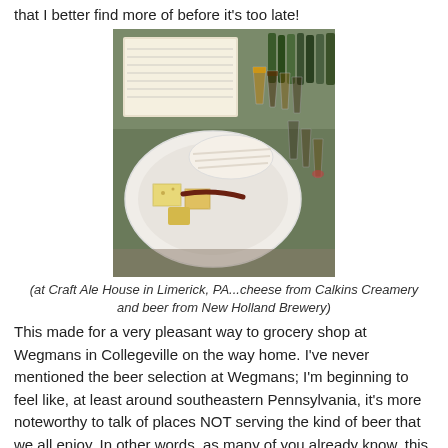that I better find more of before it's too late!
[Figure (photo): A plate of cheese and sliced meat on a bar counter, with several beer tasting glasses and a beer menu/chart board in the background.]
(at Craft Ale House in Limerick, PA...cheese from Calkins Creamery and beer from New Holland Brewery)
This made for a very pleasant way to grocery shop at Wegmans in Collegeville on the way home. I've never mentioned the beer selection at Wegmans; I'm beginning to feel like, at least around southeastern Pennsylvania, it's more noteworthy to talk of places NOT serving the kind of beer that we all enjoy. In other words, as many of you already know, this particular Wegmans has a very impressive selection of bottled beer for sale to go. Makes me